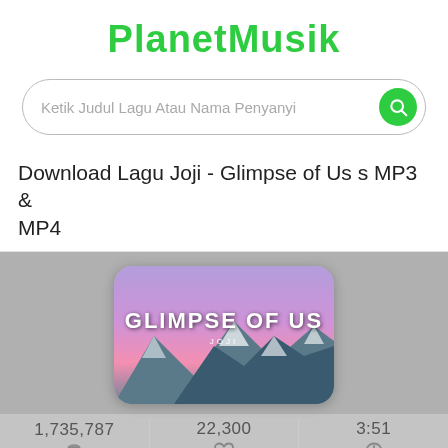PlanetMusik
Ketik Judul Lagu Atau Nama Penyanyi
Download Lagu Joji - Glimpse of Us s MP3 & MP4
[Figure (screenshot): Album art for 'Glimpse of Us' by Joji showing snowy mountains with purple/pink sky and bold white text reading 'GLIMPSE OF US' and 'JOJI']
1,735,787  22,300  3:51